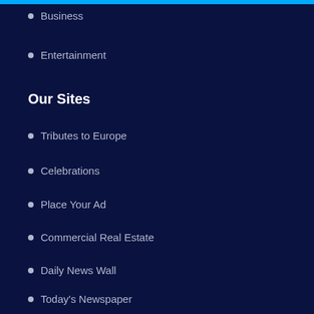Business
Entertainment
Our Sites
Tributes to Europe
Celebrations
Place Your Ad
Commercial Real Estate
Daily News Wall
Today's Newspaper
Contact Us